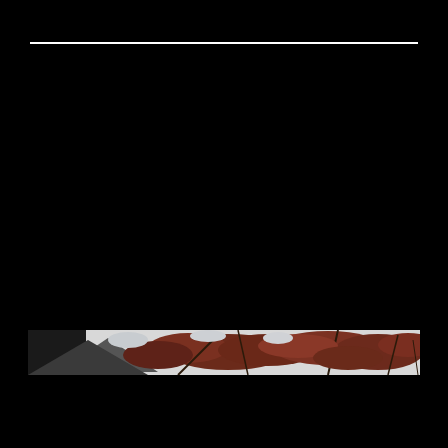[Figure (photo): Mostly black page with a thin white horizontal line near the top. Near the bottom third, a narrow horizontal photographic strip showing an outdoor scene with autumn trees with reddish-brown foliage against a light sky, and a dark triangular shape (possibly a roof or pyramid) visible at the left side, viewed from below or through a gap.]